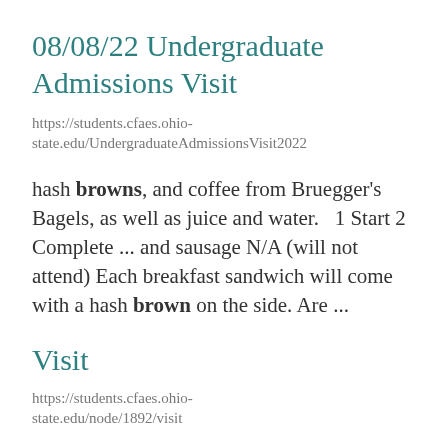08/08/22 Undergraduate Admissions Visit
https://students.cfaes.ohio-state.edu/UndergraduateAdmissionsVisit2022
hash browns, and coffee from Bruegger's Bagels, as well as juice and water.   1 Start 2 Complete ... and sausage N/A (will not attend) Each breakfast sandwich will come with a hash brown on the side. Are ...
Visit
https://students.cfaes.ohio-state.edu/node/1892/visit
COVID-19 Update for campus visits and ... All registrants and the C...